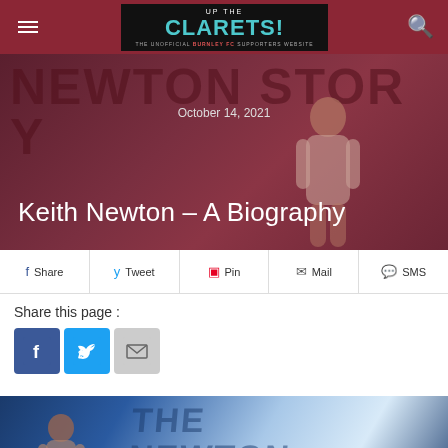Up The Clarets! The Unofficial Burnley FC Supporters Website
[Figure (photo): Hero banner with dark red/maroon background showing large text overlay and a person figure. Date 'October 14, 2021' and title 'Keith Newton – A Biography' overlaid.]
Keith Newton – A Biography
October 14, 2021
Share   Tweet   Pin   Mail   SMS
Share this page :
[Figure (photo): Bottom image showing a book cover with blue tones, large lettering and a person figure on the left side.]